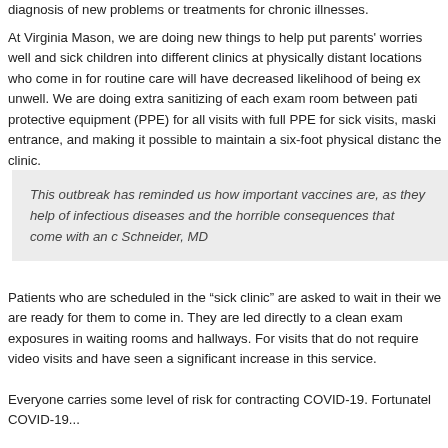diagnosis of new problems or treatments for chronic illnesses.
At Virginia Mason, we are doing new things to help put parents' worries well and sick children into different clinics at physically distant locations who come in for routine care will have decreased likelihood of being ex unwell. We are doing extra sanitizing of each exam room between pati protective equipment (PPE) for all visits with full PPE for sick visits, maski entrance, and making it possible to maintain a six-foot physical distanc the clinic.
This outbreak has reminded us how important vaccines are, as they help of infectious diseases and the horrible consequences that come with an c Schneider, MD
Patients who are scheduled in the “sick clinic” are asked to wait in their we are ready for them to come in. They are led directly to a clean exam exposures in waiting rooms and hallways. For visits that do not require video visits and have seen a significant increase in this service.
Everyone carries some level of risk for contracting COVID-19. Fortunatel COVID-19...